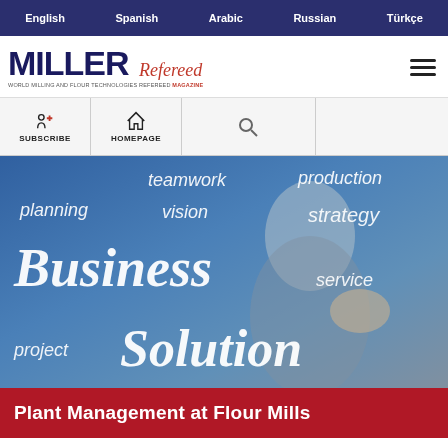English | Spanish | Arabic | Russian | Türkçe
[Figure (logo): Miller Refereed magazine logo with tagline]
[Figure (infographic): Business solution word cloud image with a person writing on a glass board showing words: teamwork, production, planning, vision, strategy, Business, service, project, Solution]
Plant Management at Flour Mills